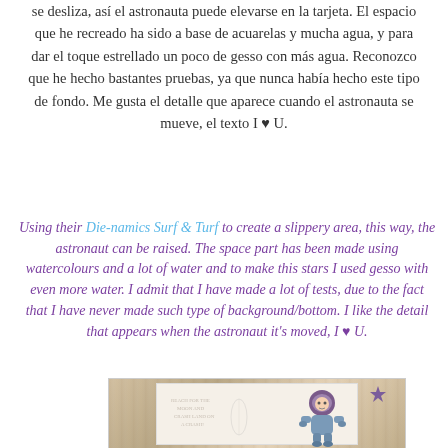se desliza, así el astronauta puede elevarse en la tarjeta. El espacio que he recreado ha sido a base de acuarelas y mucha agua, y para dar el toque estrellado un poco de gesso con más agua. Reconozco que he hecho bastantes pruebas, ya que nunca había hecho este tipo de fondo. Me gusta el detalle que aparece cuando el astronauta se mueve, el texto I ♥ U.
Using their Die-namics Surf & Turf to create a slippery area, this way, the astronaut can be raised. The space part has been made using watercolours and a lot of water and to make this stars I used gesso with even more water. I admit that I have made a lot of tests, due to the fact that I have never made such type of background/bottom. I like the detail that appears when the astronaut it's moved, I ♥ U.
[Figure (photo): Photo of a handmade card on a wooden surface showing an astronaut figure on a space-themed background with watercolor stars, and a small purple star gem in the corner.]